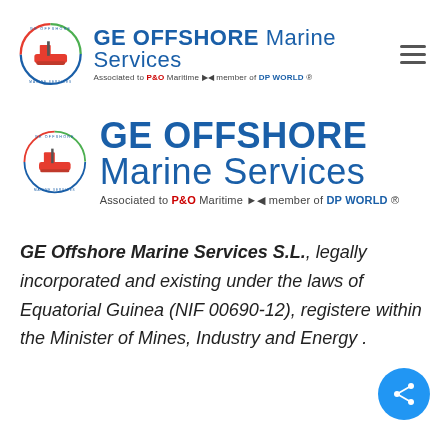[Figure (logo): GE Offshore Marine Services logo (small) with circular emblem showing a ship, blue/red/green circle border, company name in blue, and P&O Maritime / DP WORLD tagline. Hamburger menu icon on right.]
[Figure (logo): GE Offshore Marine Services logo (large) with circular emblem showing a ship, blue/red/green circle border, company name in large blue text, and P&O Maritime / DP WORLD tagline.]
GE Offshore Marine Services S.L., legally incorporated and existing under the laws of Equatorial Guinea (NIF 00690-12), registered within the Minister of Mines, Industry and Energy .